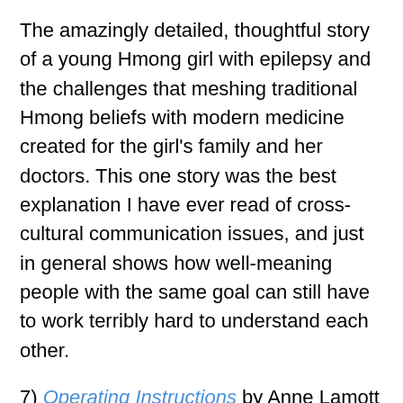The amazingly detailed, thoughtful story of a young Hmong girl with epilepsy and the challenges that meshing traditional Hmong beliefs with modern medicine created for the girl's family and her doctors. This one story was the best explanation I have ever read of cross-cultural communication issues, and just in general shows how well-meaning people with the same goal can still have to work terribly hard to understand each other.
7) Operating Instructions by Anne Lamott
Lamott can be a little Jesus-y for me sometimes, but this journal of the first year of her son's life, where she tells the story of being a scared single mom barely hanging on to sobriety and sanity, is a wonderful example of faith.
8) In Defense of Food by Michael Pollan
The politics of food and eating are so fraught and political I